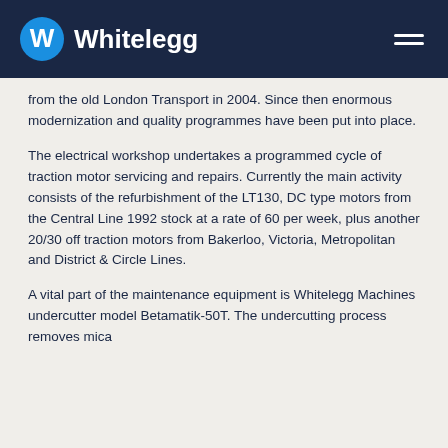Whitelegg
from the old London Transport in 2004. Since then enormous modernization and quality programmes have been put into place.
The electrical workshop undertakes a programmed cycle of traction motor servicing and repairs. Currently the main activity consists of the refurbishment of the LT130, DC type motors from the Central Line 1992 stock at a rate of 60 per week, plus another 20/30 off traction motors from Bakerloo, Victoria, Metropolitan and District & Circle Lines.
A vital part of the maintenance equipment is Whitelegg Machines undercutter model Betamatik-50T. The undercutting process removes mica